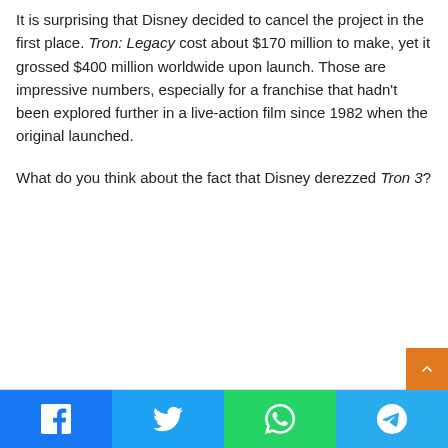It is surprising that Disney decided to cancel the project in the first place. Tron: Legacy cost about $170 million to make, yet it grossed $400 million worldwide upon launch. Those are impressive numbers, especially for a franchise that hadn't been explored further in a live-action film since 1982 when the original launched.
What do you think about the fact that Disney derezzed Tron 3?